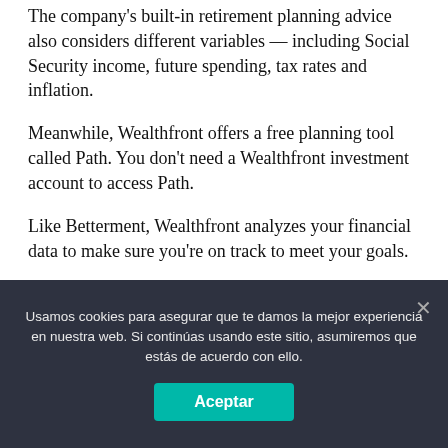The company's built-in retirement planning advice also considers different variables — including Social Security income, future spending, tax rates and inflation.
Meanwhile, Wealthfront offers a free planning tool called Path. You don't need a Wealthfront investment account to access Path.
Like Betterment, Wealthfront analyzes your financial data to make sure you're on track to meet your goals.
Usamos cookies para asegurar que te damos la mejor experiencia en nuestra web. Si continúas usando este sitio, asumiremos que estás de acuerdo con ello.